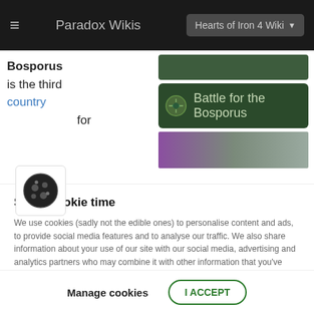≡  Paradox Wikis   Hearts of Iron 4 Wiki ▾
Bosporus is the third country for
[Figure (screenshot): Battle for the Bosporus banner with game icon]
Stop! Cookie time
We use cookies (sadly not the edible ones) to personalise content and ads, to provide social media features and to analyse our traffic. We also share information about your use of our site with our social media, advertising and analytics partners who may combine it with other information that you've provided to them or that they've collected from your use of their services. You consent to our cookies if you continue to use this website.
Manage cookies   I ACCEPT